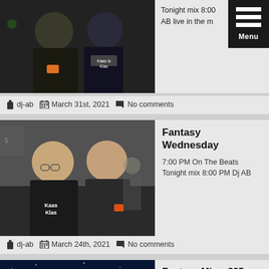[Figure (photo): Two men posing together for a photo at an event. One wears a black shirt, the other a shirt reading 'Kaas is Klas']
Tonight mix 8:00 AB live in the m
dj-ab   March 31st, 2021   No comments
[Figure (photo): Two men smiling and posing together. Left man wears glasses and a dark shirt with 'Kaas Klas'. Right man in dark shirt.]
Fantasy Wednesday
7:00 PM On The Beats Tonight mix 8:00 PM Dj AB
dj-ab   March 24th, 2021   No comments
[Figure (photo): Humanoid Invasion album art cover with text 'Dynamic D 01' and colorful sci-fi imagery]
Fantasy Mix – 225 – HumanDroid